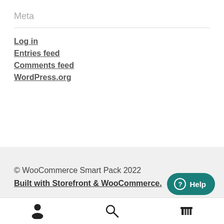Meta
Log in
Entries feed
Comments feed
WordPress.org
© WooCommerce Smart Pack 2022
Built with Storefront & WooCommerce.